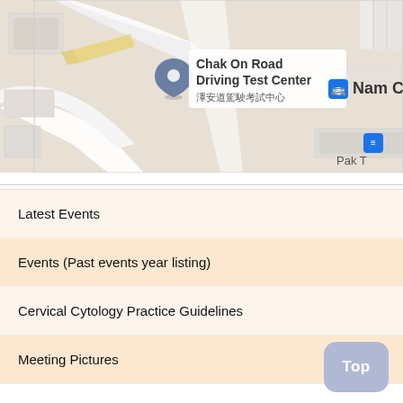[Figure (map): Google Maps screenshot showing Chak On Road Driving Test Center (澤安道駕駛考試中心) with a location pin, and a bus stop labeled Nam Cheong nearby. 'Pak T' text partially visible at bottom right. Roads and building outlines visible.]
Latest Events
Events (Past events year listing)
Cervical Cytology Practice Guidelines
Meeting Pictures